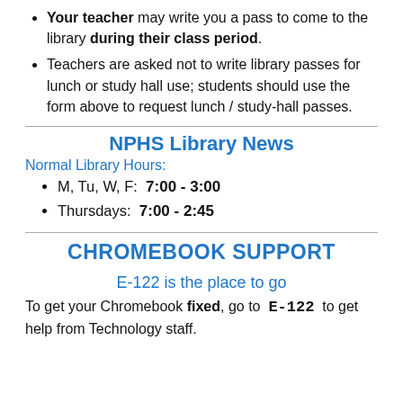Your teacher may write you a pass to come to the library during their class period.
Teachers are asked not to write library passes for lunch or study hall use; students should use the form above to request lunch / study-hall passes.
NPHS Library News
Normal Library Hours:
M, Tu, W, F:  7:00 - 3:00
Thursdays:  7:00 - 2:45
CHROMEBOOK SUPPORT
E-122 is the place to go
To get your Chromebook fixed, go to  E-122 to get help from Technology staff.